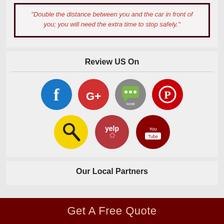"Double the distance between you and the car in front of you; you will need the extra time to stop safely."
Review US On
[Figure (infographic): Social media review icons: Facebook (blue circle with f), Google+ (red circle with G+), Google Local (grey circle with speech bubble and 'local'), Pinterest (red circle with P), Angie's List (yellow circle with magnifying glass), Yelp (red circle with yelp text), YouTube (dark red circle with YouTube logo)]
Our Local Partners
Get A Free Quote